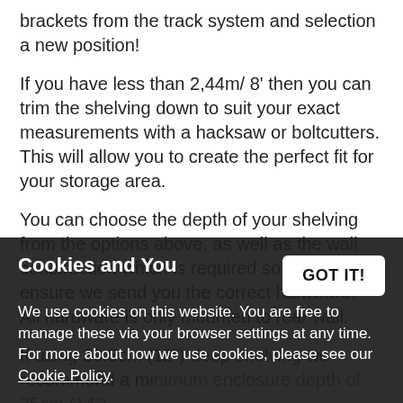brackets from the track system and selection a new position!
If you have less than 2,44m/ 8' then you can trim the shelving down to suit your exact measurements with a hacksaw or boltcutters. This will allow you to create the perfect fit for your storage area.
You can choose the depth of your shelving from the options above, as well as the wall construction which is required so that we can ensure we send you the correct hardware.  All hardware is only mounted to rear wall.
If using 30.5cm (12") deep shelving we recommend a minimum enclosure depth of 35cm (14").
If using 40.6cm (16") deep shelving we recommend a minimum enclosure depth of 46cm (18").
If using 50.8cm (20") deep shelving we recommend a minimum enclosure depth of 56cm (22").
Cookies and You
We use cookies on this website. You are free to manage these via your browser settings at any time. For more about how we use cookies, please see our Cookie Policy.
GOT IT!